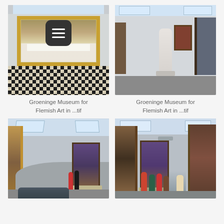[Figure (photo): Interior of Groeninge Museum showing a large painting in a golden frame with a checkerboard floor, ceiling skylights, with a hamburger menu icon overlay]
[Figure (photo): Interior of Groeninge Museum showing a white marble Madonna sculpture on a pedestal with paintings on the walls in the background]
Groeninge Museum for Flemish Art in ...tif
Groeninge Museum for Flemish Art in ...tif
[Figure (photo): Interior of Groeninge Museum gallery room with curved walls, skylights, a large altarpiece painting, and two visitors standing in front of it]
[Figure (photo): Interior of Groeninge Museum with a group of seated and standing visitors looking at large altarpiece paintings on the walls]